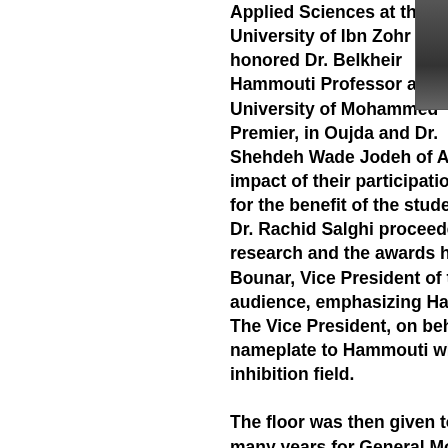Applied Sciences at the University of Ibn Zohr honored Dr. Belkheir Hammouti Professor at the University of Mohammed Premier, in Oujda and Dr. Shehdeh Wade Jodeh of An-Najah Nati impact of their participation in the fram for the benefit of the students and rese Dr. Rachid Salghi proceeded to speak a research and the awards he received a Bounar, Vice President of the Universi audience, emphasizing Hammouti's ef The Vice President, on behalf of the Pr nameplate to Hammouti who is also th inhibition field. The floor was then given to Dr. Salghi t many years for General Motors Corpor Chemistry. Dr. Ouakrim Mohammed, D Sciences, presented Dr. Shehdeh with honor of sciences and excellence. This event was attended by a group of of Dr. Driss Ben Hmamou who was def
[Figure (photo): Partial photo of a person in dark clothing, cropped at the right edge of the page]